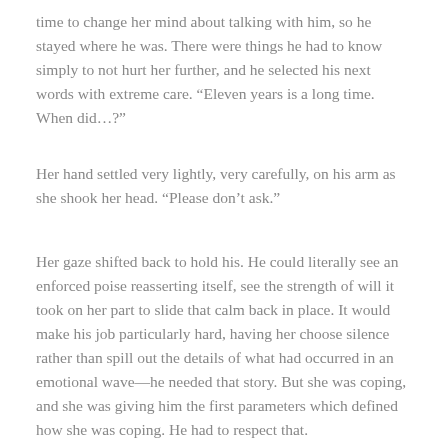time to change her mind about talking with him, so he stayed where he was. There were things he had to know simply to not hurt her further, and he selected his next words with extreme care. “Eleven years is a long time. When did…?”
Her hand settled very lightly, very carefully, on his arm as she shook her head. “Please don’t ask.”
Her gaze shifted back to hold his. He could literally see an enforced poise reasserting itself, see the strength of will it took on her part to slide that calm back in place. It would make his job particularly hard, having her choose silence rather than spill out the details of what had occurred in an emotional wave—he needed that story. But she was coping, and she was giving him the first parameters which defined how she was coping. He had to respect that.